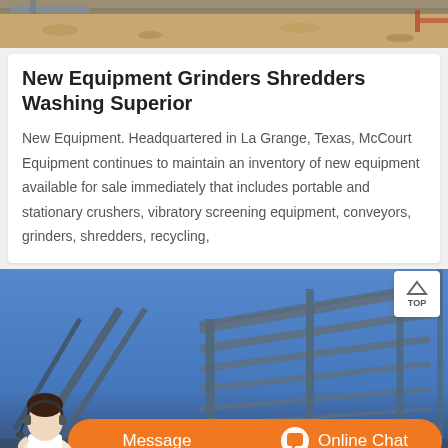[Figure (photo): Top partial image of construction equipment and gravel/ground scene]
New Equipment Grinders Shredders Washing Superior
New Equipment. Headquartered in La Grange, Texas, McCourt Equipment continues to maintain an inventory of new equipment available for sale immediately that includes portable and stationary crushers, vibratory screening equipment, conveyors, grinders, shredders, recycling,
[Figure (photo): Photo of industrial steel framework structure against a blue sky, with a customer service chat interface showing Message and Online Chat buttons at the bottom]